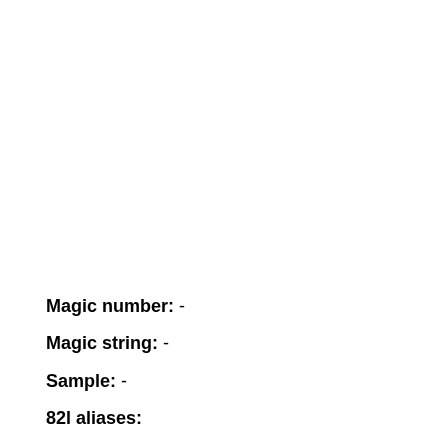Magic number: -
Magic string: -
Sample: -
82l aliases:
-